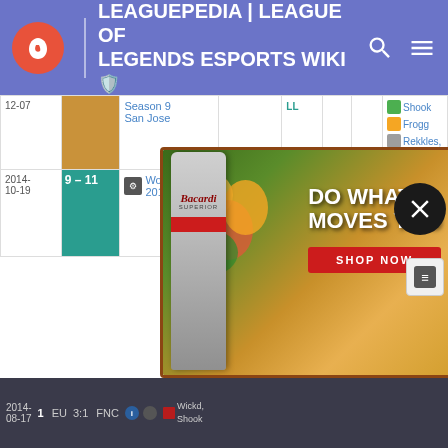LEAGUEPEDIA | LEAGUE OF LEGENDS ESPORTS WIKI
| Date | Score | Event | Result | Type | Info | Opp | Players |
| --- | --- | --- | --- | --- | --- | --- | --- |
| 12-07 |  | Season 9
San Jose |  | LL |  |  | Shook
Froggen
Rekkles
Nyph |
| 2014-10-19 | 9 - 11 | Worlds 2014 | 3 - 3 | RR | i | A LL | Wickd
Shook
Froggen
Tabzz
Nyph |
| 2014-08-17 | 1 | EU | 3:1 | FNC | i | A | Wickd
Shook
Froggen
Tabzz
Nyph |
[Figure (screenshot): Bacardi Superior rum advertisement banner with fruit background. Text reads 'DO WHAT MOVES YOU' with a 'SHOP NOW' button.]
DO WHAT MOVES YOU
SHOP NOW